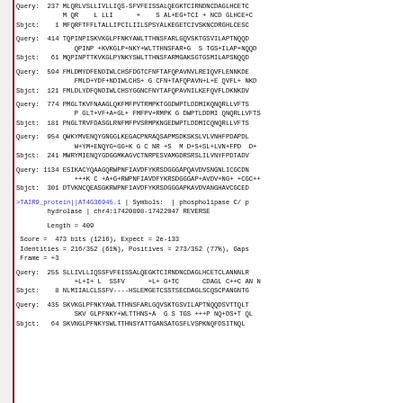Query:  237 MLQRLVSLLIVLLIQS-SFVFEISSALQEGKTCIRNDNCDAGLHCETC
            M QR    L LLI      +    S AL+EG+TCI + NCD GLHCE+C
Sbjct:    1 MFQRFTFFLTALLIPCILIILSPSYALKEGETCIVSKNCDRGHLCESC
Query:  414 TQPINPISKVKGLPFNKYAWLTTHNSFARLGQVSKTGSVILAPTNQQD
               QPINP +KVKGLP+NKY+WLTTHNSFAR+G  S TGS+ILAP+NQQD
Sbjct:   61 MQPINPTTKVKGLPYNKYSWLTTHNSFARMGAKSGTGSMILAPSNQQD
Query:  594 FMLDMYDFENDIWLCHSFDGTCFNFTAFQPAVNVLREIQVFLENNKDE
               FMLD+YDF+NDIWLCHS+ G CFN+TAFQPAVN+L+E QVFL+ NKD 
Sbjct:  121 FMLDLYDFQNDIWLCHSYGGNCFNYTAFQPAVNILKEFQVFLDKNKDV
Query:  774 PMGLTKVFNAAGLQKFMFPVTRMPKTGGDWPTLDDMIKQNQRLLVFTS
               P GLT+VF+A+GL+ FMFPV+RMPK G DWPTLDDMI QNQRLLVFTS
Sbjct:  181 PNGLTRVFDASGLRNFMFPVSRMPKNGEDWPTLDDMICQNQRLLVFTS
Query:  954 QWKYMVENQYGNGGLKEGACPNRAQSAPMSDKSKSLVLVNHFPDAPDL
               W+YM+ENQYG+GG+K G C NR +S  M D+S+SL+LVN+FPD  D+
Sbjct:  241 MWRYMIENQYGDGGMKAGVCTNRPESVAMGDRSRSLILVNYFPDTADV
Query: 1134 ESIKACYQAAGQRWPNFIAVDFYKRSDGGGAPQAVDVSNGNLICGCDN
               +++K C +A+G+RWPNFIAVDFYKRSDGGGAP+AVDV+NG+ +CGC++
Sbjct:  301 DTVKNCQEASGKRWPNFIAVDFYKRSDGGGAPKAVDVANGHAVCGCED
>TAIR9_protein||AT4G36945.1 | Symbols:  | phospholipase C/ p
        hydrolase | chr4:17420898-17422047 REVERSE
Length = 409
Score =  473 bits (1216), Expect = 2e-133
 Identities = 216/352 (61%), Positives = 273/352 (77%), Gaps
 Frame = +3
Query:  255 SLLIVLLIQSSFVFEISSALQEGKTCIRNDNCDAGLHCETCLANNNLR
               +L+I+ L  SSFV      +L+ G+TC      CDAGL C++C AN N
Sbjct:    8 NLMIIALCLSSFV----HSLEMGETCSSTSECDAGLSCQSCPANGNTG
Query:  435 SKVKGLPFNKYAWLTTHNSFARLGQVSKTGSVILAPTNQQDSVTTQLT
               SKV GLPFNKY+WLTTHNS+A  G S TGS +++P NQ+DS+T QL
Sbjct:   64 SKVNGLPFNKYSWLTTHNSYATTGANSATGSFLVSPKNQFDSITNQL